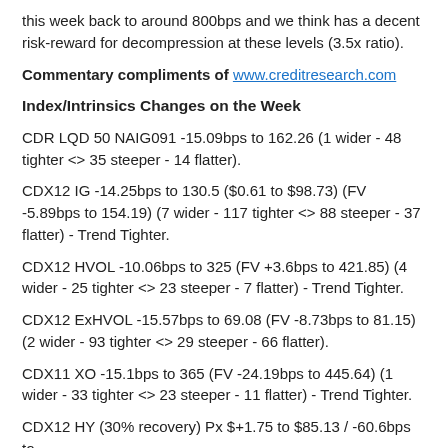this week back to around 800bps and we think has a decent risk-reward for decompression at these levels (3.5x ratio).
Commentary compliments of www.creditresearch.com
Index/Intrinsics Changes on the Week
CDR LQD 50 NAIG091 -15.09bps to 162.26 (1 wider - 48 tighter <> 35 steeper - 14 flatter).
CDX12 IG -14.25bps to 130.5 ($0.61 to $98.73) (FV -5.89bps to 154.19) (7 wider - 117 tighter <> 88 steeper - 37 flatter) - Trend Tighter.
CDX12 HVOL -10.06bps to 325 (FV +3.6bps to 421.85) (4 wider - 25 tighter <> 23 steeper - 7 flatter) - Trend Tighter.
CDX12 ExHVOL -15.57bps to 69.08 (FV -8.73bps to 81.15) (2 wider - 93 tighter <> 29 steeper - 66 flatter).
CDX11 XO -15.1bps to 365 (FV -24.19bps to 445.64) (1 wider - 33 tighter <> 23 steeper - 11 flatter) - Trend Tighter.
CDX12 HY (30% recovery) Px $+1.75 to $85.13 / -60.6bps to